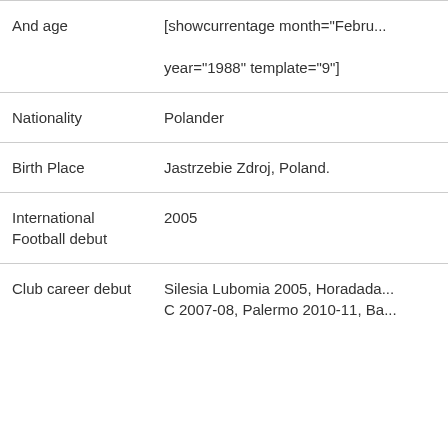| Field | Value |
| --- | --- |
| And age | [showcurrentage month="Febru... year="1988" template="9"] |
| Nationality | Polander |
| Birth Place | Jastrzebie Zdroj, Poland. |
| International Football debut | 2005 |
| Club career debut | Silesia Lubomia 2005, Horadada... C 2007-08, Palermo 2010-11, Ba... |